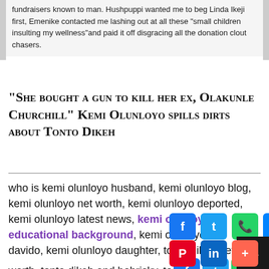fundraisers known to man. Hushpuppi wanted me to beg Linda Ikeji first, Emenike contacted me lashing out at all these “small children insulting my wellness”and paid it off disgracing all the donation clout chasers.
“She bought a gun to kill her ex, Olakunle Churchill” Kemi Olunloyo spills dirts about Tonto Dikeh
who is kemi olunloyo husband, kemi olunloyo blog, kemi olunloyo net worth, kemi olunloyo deported, kemi olunloyo latest news, kemi olunloyo educational background, kemi olunloyo and davido, kemi olunloyo daughter, tonto dikeh net worth, tonto dikeh and bobrisky, tonto dikeh empire, tonto dikeh and bobrisky kim, tonto dikeh house, tonto dikeh biography, tonto dikeh wedding.